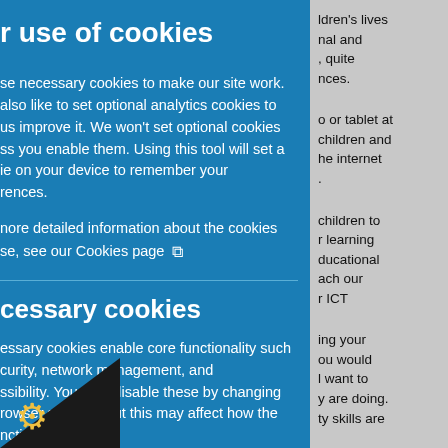r use of cookies
se necessary cookies to make our site work. also like to set optional analytics cookies to us improve it. We won't set optional cookies ss you enable them. Using this tool will set a ie on your device to remember your rences.
nore detailed information about the cookies se, see our Cookies page ⧉
cessary cookies
essary cookies enable core functionality such curity, network management, and ssibility. You may disable these by changing rowser settings, but this may affect how the nctions.
ldren's lives nal and , quite nces.
or tablet at children and he internet .
children to r learning ducational ach our r ICT
ing your ou would l want to y are doing. ty skills are